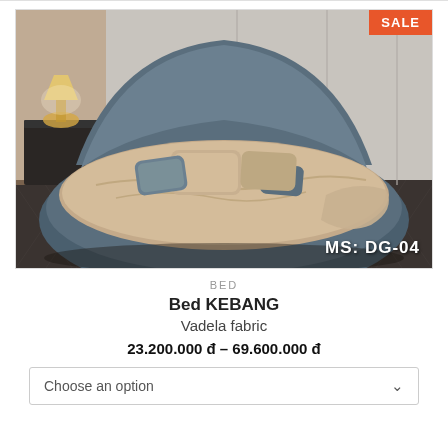[Figure (photo): A luxurious round bed with dark blue/grey velvet upholstery and curved headboard, styled with beige and blue pillows on beige bedding, placed in an elegant bedroom setting with herringbone patterned floor. A 'SALE' badge appears in the top-right corner and 'MS: DG-04' label appears in the bottom-right corner of the image.]
BED
Bed KEBANG
Vadela fabric
23.200.000 đ – 69.600.000 đ
Choose an option